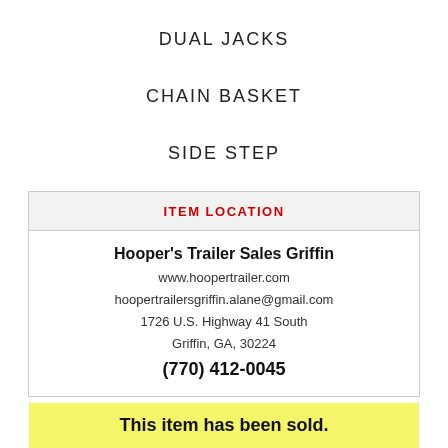DUAL JACKS
CHAIN BASKET
SIDE STEP
| ITEM LOCATION |
| --- |
| Hooper's Trailer Sales Griffin |
| www.hoopertrailer.com |
| hoopertrailersgriffin.alane@gmail.com |
| 1726 U.S. Highway 41 South |
| Griffin, GA, 30224 |
| (770) 412-0045 |
This item has been sold.